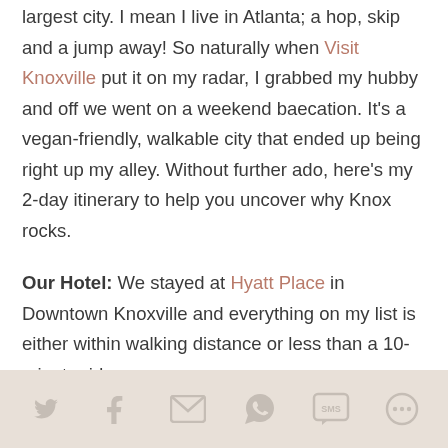largest city. I mean I live in Atlanta; a hop, skip and a jump away! So naturally when Visit Knoxville put it on my radar, I grabbed my hubby and off we went on a weekend baecation. It's a vegan-friendly, walkable city that ended up being right up my alley. Without further ado, here's my 2-day itinerary to help you uncover why Knox rocks.
Our Hotel: We stayed at Hyatt Place in Downtown Knoxville and everything on my list is either within walking distance or less than a 10-minute ride away.
Social share bar: Twitter, Facebook, Email, WhatsApp, SMS, More